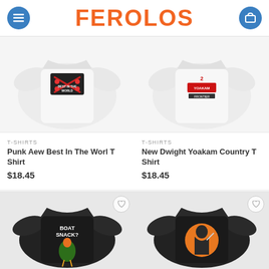FEROLOS
[Figure (photo): White t-shirt with Punk Aew Best In The World graphic design]
[Figure (photo): White t-shirt with Dwight Yoakam Country graphic design]
T-SHIRTS
Punk Aew Best In The Worl T Shirt
$18.45
T-SHIRTS
New Dwight Yoakam Country T Shirt
$18.45
[Figure (photo): Black t-shirt with Boat Snack rooster graphic design]
[Figure (photo): Black t-shirt with Halloween Michael Myers graphic design]